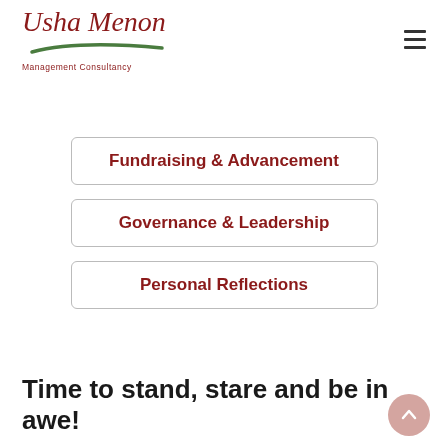[Figure (logo): Usha Menon Management Consultancy logo with cursive red text and green underline stroke]
Fundraising & Advancement
Governance & Leadership
Personal Reflections
Time to stand, stare and be in awe!